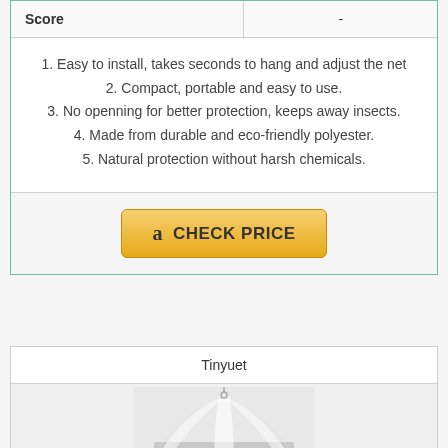| Score | - |
| --- | --- |
1. Easy to install, takes seconds to hang and adjust the net
2. Compact, portable and easy to use.
3. No openning for better protection, keeps away insects.
4. Made from durable and eco-friendly polyester.
5. Natural protection without harsh chemicals.
CHECK PRICE
Tinyuet
[Figure (photo): Mosquito net canopy draped over a bed, white sheer fabric]